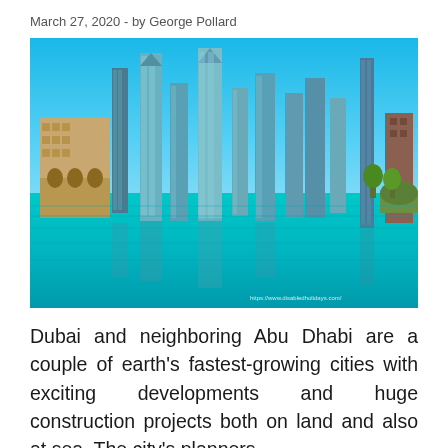March 27, 2020  -  by George Pollard
[Figure (photo): Skyline of Dubai with tall modern skyscrapers reflected in turquoise water, blue sky background. Watermark reads https://www.disabledholidays.com/]
Dubai and neighboring Abu Dhabi are a couple of earth's fastest-growing cities with exciting developments and huge construction projects both on land and also at sea. The city's planners